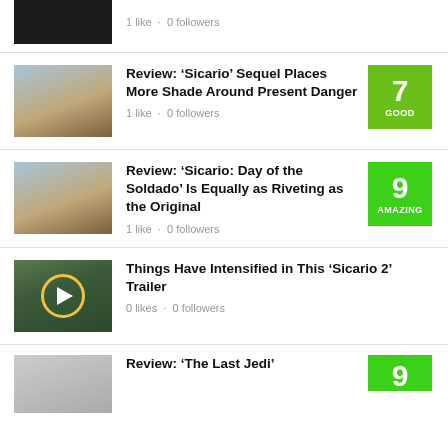1 like · 0 followers
Review: ‘Sicario’ Sequel Places More Shade Around Present Danger
1 like · 0 followers
Review: ‘Sicario: Day of the Soldado’ Is Equally as Riveting as the Original
1 like · 0 followers
Things Have Intensified in This ‘Sicario 2’ Trailer
0 likes · 0 followers
Review: ‘The Last Jedi’